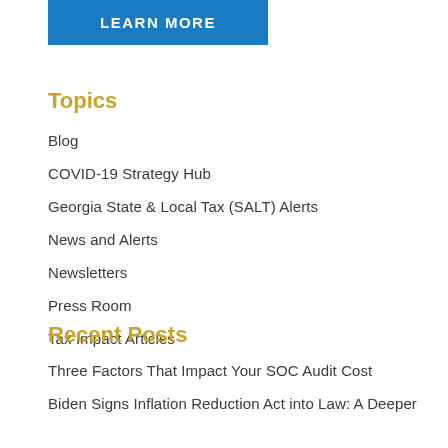[Figure (other): Blue button with white bold text reading LEARN MORE]
Topics
Blog
COVID-19 Strategy Hub
Georgia State & Local Tax (SALT) Alerts
News and Alerts
Newsletters
Press Room
Tax Impact Articles
Recent Posts
Three Factors That Impact Your SOC Audit Cost
Biden Signs Inflation Reduction Act into Law: A Deeper